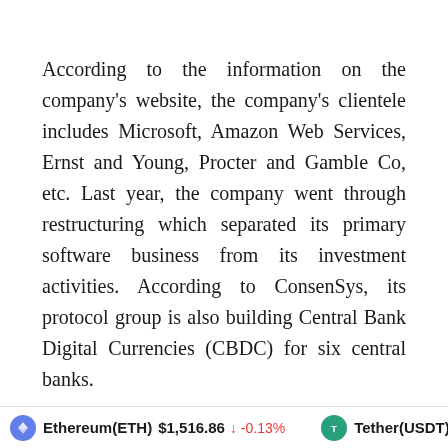According to the information on the company's website, the company's clientele includes Microsoft, Amazon Web Services, Ernst and Young, Procter and Gamble Co, etc. Last year, the company went through restructuring which separated its primary software business from its investment activities. According to ConsenSys, its protocol group is also building Central Bank Digital Currencies (CBDC) for six central banks.
Ethereum(ETH) $1,516.86 ↓ -0.13%   Tether(USDT) $1.00